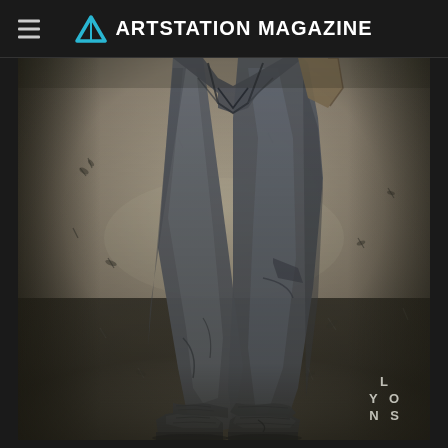ArtStation Magazine
[Figure (illustration): Digital illustration showing the lower half of a figure walking, wearing dark grey fitted trousers and chunky sneakers, with a coat visible at the top right. The background is a foggy, muted grey-beige environment with small debris scattered around. Artist watermark 'LYONS' appears in the bottom right corner.]